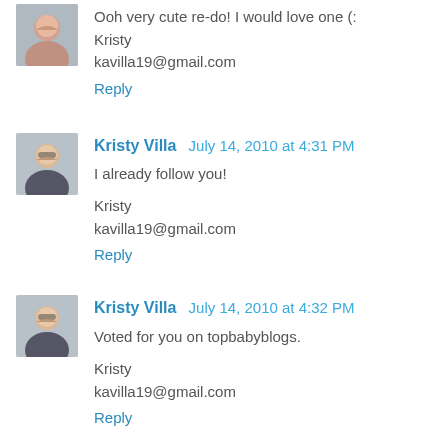[Figure (photo): Small avatar photo of a person smiling]
Ooh very cute re-do! I would love one (:
Kristy
kavilla19@gmail.com
Reply
[Figure (photo): Small avatar photo of Kristy Villa smiling with glasses]
Kristy Villa  July 14, 2010 at 4:31 PM
I already follow you!

Kristy
kavilla19@gmail.com
Reply
[Figure (photo): Small avatar photo of Kristy Villa smiling with glasses]
Kristy Villa  July 14, 2010 at 4:32 PM
Voted for you on topbabyblogs.

Kristy
kavilla19@gmail.com
Reply